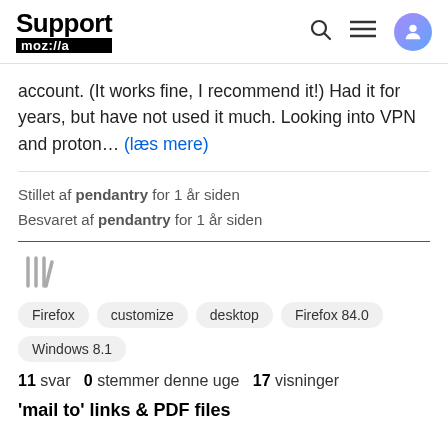Support moz://a
account. (It works fine, I recommend it!) Had it for years, but have not used it much. Looking into VPN and proton... (læs mere)
Stillet af pendantry for 1 år siden
Besvaret af pendantry for 1 år siden
[Figure (illustration): Bookshelf/library icon in gray]
Firefox  customize  desktop  Firefox 84.0  Windows 8.1
11 svar  0 stemmer denne uge  17 visninger
'mail to' links & PDF files